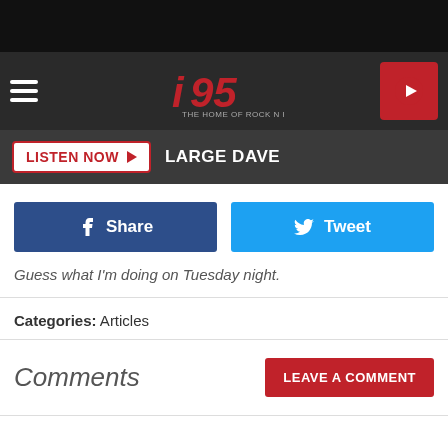[Figure (screenshot): Black top bar of a mobile browser]
i95 THE HOME OF ROCK N ROLL
LISTEN NOW  LARGE DAVE
[Figure (infographic): Facebook Share button and Twitter Tweet button]
Guess what I'm doing on Tuesday night.
Categories: Articles
Comments
LEAVE A COMMENT